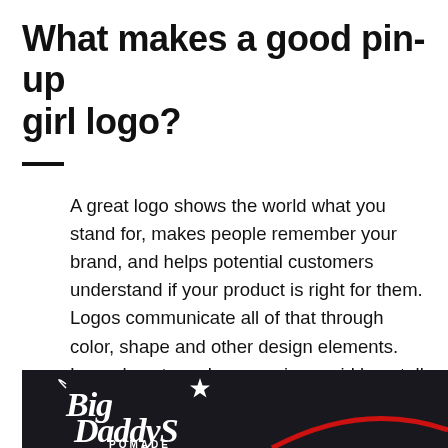What makes a good pin-up girl logo?
A great logo shows the world what you stand for, makes people remember your brand, and helps potential customers understand if your product is right for them. Logos communicate all of that through color, shape and other design elements. Learn how to make your pin-up girl logo tell your brand's story.
[Figure (logo): Big Daddy's Pomade logo on a dark background — white script lettering with a star, and a red arc element at the bottom.]